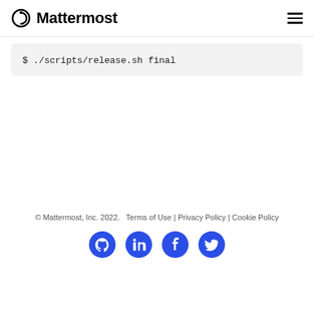Mattermost
$ ./scripts/release.sh final
© Mattermost, Inc. 2022.   Terms of Use | Privacy Policy | Cookie Policy
[Figure (other): Social media icons: GitHub, LinkedIn, Facebook, Twitter]